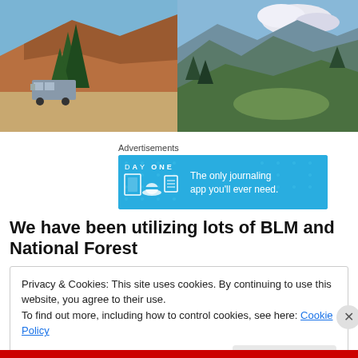[Figure (photo): Two outdoor photos side by side: left shows a bus/camper vehicle parked on a dirt road with red rock cliffs and trees; right shows a mountain valley vista with green slopes and blue sky with clouds.]
Advertisements
[Figure (other): Day One app advertisement banner: blue background with DAY ONE logo and icons, text reads 'The only journaling app you'll ever need.']
We have been utilizing lots of BLM and National Forest
Privacy & Cookies: This site uses cookies. By continuing to use this website, you agree to their use.
To find out more, including how to control cookies, see here: Cookie Policy
Close and accept